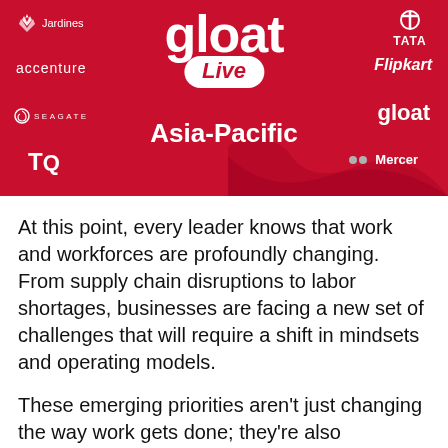[Figure (infographic): Gloat Live Asia-Pacific event banner on red background with sponsor logos: Jardines, TATA, accenture, Flipkart, SEAGATE, gloat, TQ, Mercer]
At this point, every leader knows that work and workforces are profoundly changing. From supply chain disruptions to labor shortages, businesses are facing a new set of challenges that will require a shift in mindsets and operating models.
These emerging priorities aren't just changing the way work gets done; they're also reshaping HR as a